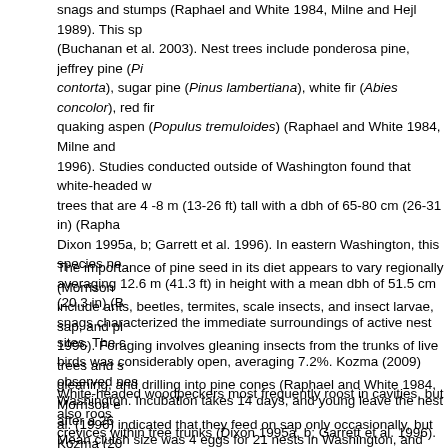snags and stumps (Raphael and White 1984, Milne and Hejl 1989). This sp (Buchanan et al. 2003). Nest trees include ponderosa pine, jeffrey pine (Pi contorta), sugar pine (Pinus lambertiana), white fir (Abies concolor), red fir quaking aspen (Populus tremuloides) (Raphael and White 1984, Milne and 1996). Studies conducted outside of Washington found that white-headed w trees that are 4 -8 m (13-26 ft) tall with a dbh of 65-80 cm (26-31 in) (Rapha Dixon 1995a, b; Garrett et al. 1996). In eastern Washington, this species ne averaging 12.6 m (41.3 ft) in height with a mean dbh of 51.5 cm (20.3 in) (B snags characterized the immediate surroundings of active nest sites. The c birds was considerably open, averaging 7.2%. Kozma (2009) observed nes Washington. Incubation takes 14 days, and young leave the nest after a 26 Mean clutch size was 4 eggs for 21 nests in Washington, and mean numbe 2009).
The importance of pine seed in its diet appears to vary regionally (Morrison include ants, beetles, termites, scale insects, and insect larvae, sap, and pl 1996). Foraging involves gleaning insects from the trunks of live trees and s gleaning, and drilling into pine cones (Raphael and White 1984, Morrison e al. (1996) indicated that they feed on sap only occasionally, but Kozma (20 an important food source in Washington during spring when pine seedscro
White-headed woodpeckers most frequently roost in cavities, but also roos crevices within tree trunks (Dixon 1995a, b; Garrett et al. 1996).  They typio and snags) averaging 60 cm (24 in) dbh and 7 m (23 ft) tall.  Males roost in